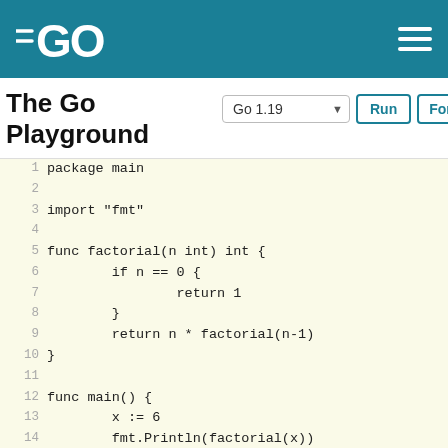The Go Playground — Go logo header bar
The Go Playground
Go 1.19  Run  Format  S
[Figure (screenshot): Go Playground code editor showing a factorial function in Go, with syntax-highlighted monospace code on a light yellow background. Lines 1-16 are visible.]